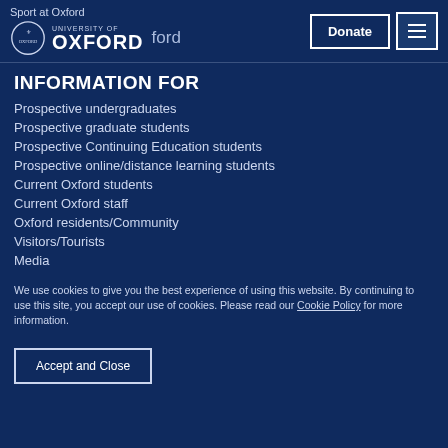Sport at Oxford | University of Oxford — Donate | Menu
INFORMATION FOR
Prospective undergraduates
Prospective graduate students
Prospective Continuing Education students
Prospective online/distance learning students
Current Oxford students
Current Oxford staff
Oxford residents/Community
Visitors/Tourists
Media
We use cookies to give you the best experience of using this website. By continuing to use this site, you accept our use of cookies. Please read our Cookie Policy for more information.
Accept and Close